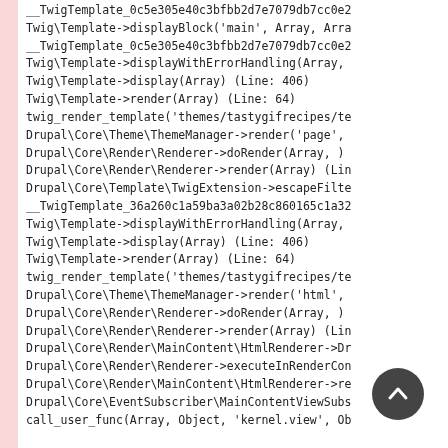__TwigTemplate_0c5e305e40c3bfbb2d7e7079db7cc0e2
Twig\Template->displayBlock('main', Array, Arra
__TwigTemplate_0c5e305e40c3bfbb2d7e7079db7cc0e2
Twig\Template->displayWithErrorHandling(Array,
Twig\Template->display(Array) (Line: 406)
Twig\Template->render(Array) (Line: 64)
twig_render_template('themes/tastygifrecipes/te
Drupal\Core\Theme\ThemeManager->render('page',
Drupal\Core\Render\Renderer->doRender(Array, )
Drupal\Core\Render\Renderer->render(Array) (Lin
Drupal\Core\Template\TwigExtension->escapeFilte
__TwigTemplate_36a260c1a59ba3a02b28c860165c1a32
Twig\Template->displayWithErrorHandling(Array,
Twig\Template->display(Array) (Line: 406)
Twig\Template->render(Array) (Line: 64)
twig_render_template('themes/tastygifrecipes/te
Drupal\Core\Theme\ThemeManager->render('html',
Drupal\Core\Render\Renderer->doRender(Array, )
Drupal\Core\Render\Renderer->render(Array) (Lin
Drupal\Core\Render\MainContent\HtmlRenderer->Dr
Drupal\Core\Render\Renderer->executeInRenderCon
Drupal\Core\Render\MainContent\HtmlRenderer->re
Drupal\Core\EventSubscriber\MainContentViewSubs
call_user_func(Array, Object, 'kernel.view', Ob